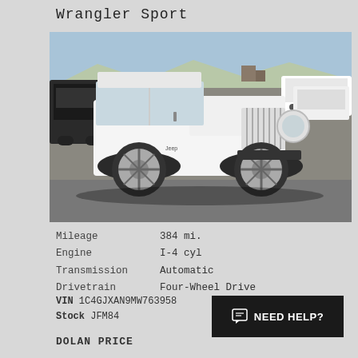Wrangler Sport
[Figure (photo): White Jeep Wrangler Sport photographed in a dealership lot with other vehicles in the background, mountains visible in the distance]
Mileage	384 mi.
Engine	I-4 cyl
Transmission	Automatic
Drivetrain	Four-Wheel Drive
VIN 1C4GJXAN9MW763958
Stock JFM84
NEED HELP?
DOLAN PRICE